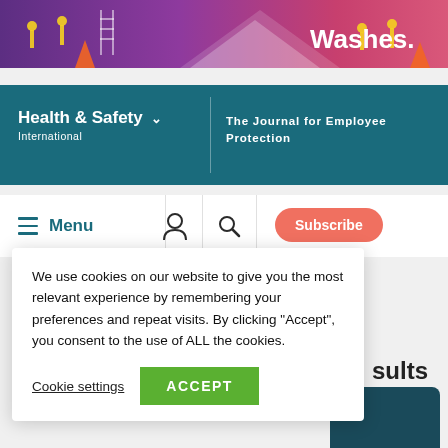[Figure (illustration): Purple/pink gradient banner with construction workers in yellow vests, ladders, and safety cones. Text reads 'Washes.' in white on the right.]
[Figure (logo): Health & Safety International logo with tagline 'The Journal for Employee Protection' on teal background]
Menu
We use cookies on our website to give you the most relevant experience by remembering your preferences and repeat visits. By clicking “Accept”, you consent to the use of ALL the cookies.
Cookie settings
ACCEPT
sults